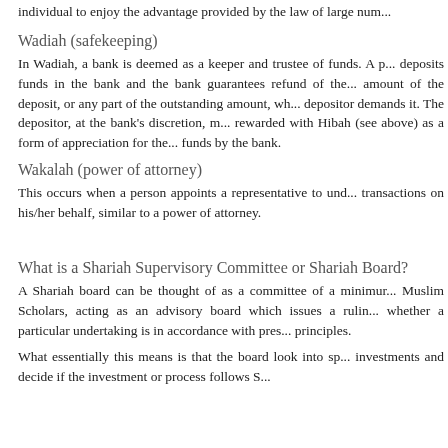individual to enjoy the advantage provided by the law of large num...
Wadiah (safekeeping)
In Wadiah, a bank is deemed as a keeper and trustee of funds. A person deposits funds in the bank and the bank guarantees refund of the full amount of the deposit, or any part of the outstanding amount, when the depositor demands it. The depositor, at the bank's discretion, may be rewarded with Hibah (see above) as a form of appreciation for the use of funds by the bank.
Wakalah (power of attorney)
This occurs when a person appoints a representative to undertake transactions on his/her behalf, similar to a power of attorney.
What is a Shariah Supervisory Committee or Shariah Board?
A Shariah board can be thought of as a committee of a minimum of 3 Muslim Scholars, acting as an advisory board which issues a ruling on whether a particular undertaking is in accordance with prescribed Shariah principles.
What essentially this means is that the board look into specific investments and decide if the investment or process follows Shariah...